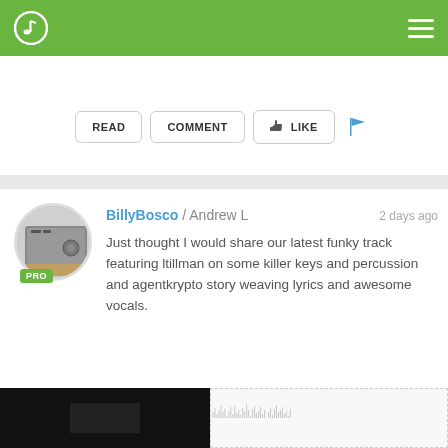Music app header with logo and menu
[Figure (screenshot): Partial top card with READ, COMMENT, LIKE buttons and a flag icon]
BillyBosco / Andrew L   2 days ago

Just thought I would share our latest funky track featuring ltillman on some killer keys and percussion and agentkrypto story weaving lyrics and awesome vocals.

The Na Na Na Song
[Figure (photo): Dark image thumbnail at bottom with waveform visualization]